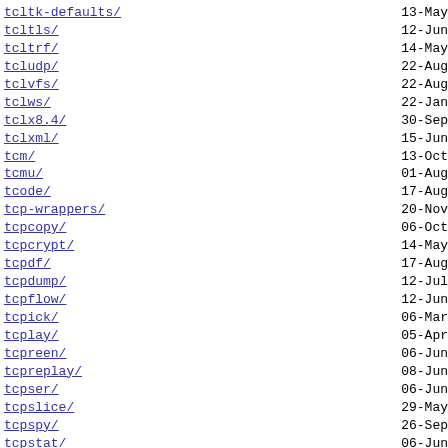tcltk-defaults/  13-May
tcltls/  12-Jun
tcltrf/  14-May
tcludp/  22-Aug
tclvfs/  22-Aug
tclws/  22-Jan
tclx8.4/  30-Sep
tclxml/  15-Jun
tcm/  13-Oct
tcmu/  01-Aug
tcode/  17-Aug
tcp-wrappers/  20-Nov
tcpcopy/  06-Oct
tcpcrypt/  14-May
tcpdf/  17-Aug
tcpdump/  12-Jul
tcpflow/  12-Jun
tcpick/  06-Mar
tcplay/  05-Apr
tcpreen/  06-Jun
tcpreplay/  08-Jun
tcpser/  06-Jun
tcpslice/  29-May
tcpspy/  26-Sep
tcpstat/  06-Jun
tcptrace/  22-Aug
tcptraceroute/  22-Aug
tcptrack/  01-Nov
tcputils/  06-Jun
tcpwatch-httpproxy/  04-Aug